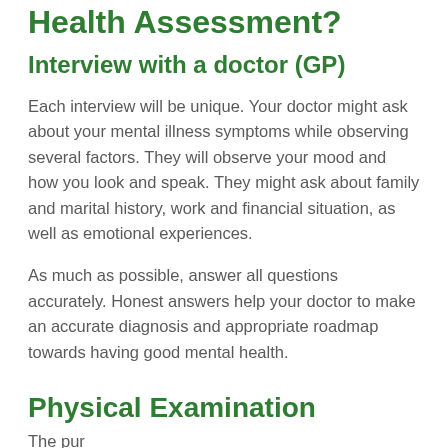Health Assessment?
Interview with a doctor (GP)
Each interview will be unique. Your doctor might ask about your mental illness symptoms while observing several factors. They will observe your mood and how you look and speak. They might ask about family and marital history, work and financial situation, as well as emotional experiences.
As much as possible, answer all questions accurately. Honest answers help your doctor to make an accurate diagnosis and appropriate roadmap towards having good mental health.
Physical Examination
The pur...